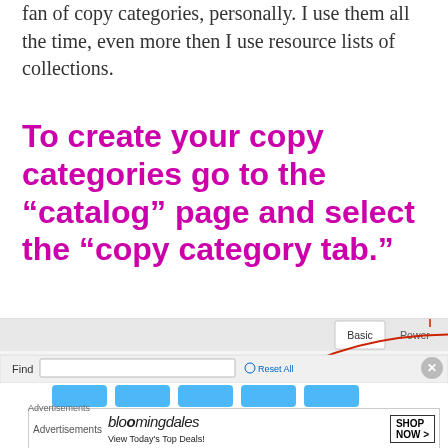fan of copy categories, personally. I use them all the time, even more then I use resource lists of collections.
To create your copy categories go to the “catalog” page and select the “copy category tab.”
[Figure (screenshot): Screenshot of a catalog page interface showing tabs: Basic, Power, Visual, Copy Categories (circled in red with arrow pointing to it), Numb. Below is a Find bar with input field and Reset All button, and icon buttons.]
[Figure (screenshot): Advertisement banner for Bloomingdale's: 'View Today's Top Deals!' with SHOP NOW > button and image of woman with hat.]